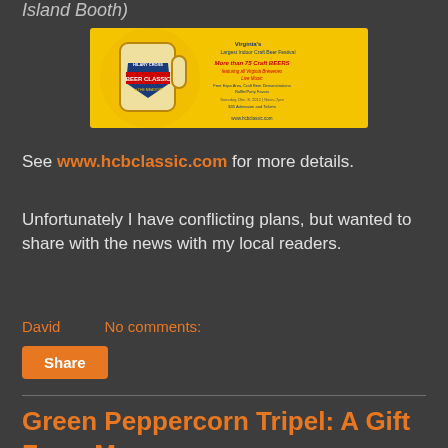Island Booth)
[Figure (photo): Advertisement banner for Hilary Cross Beer Classic at The Meadow – Virginia's Largest Indoor Craft Beer Festival. Yellow background with beer mug graphic. Text: More than 75 Craft Beers, featuring all Virginia Breweries, Live Music, Free Expo Area, Craft Beer Demonstrations, Raffle/Party Favors. Saturday, Dec. 8, 2012, Noon–7pm. $35 Admission and Tickets. www.hcbclassic.com]
See www.hcbclassic.com for more details.
Unfortunately I have conflicting plans, but wanted to share with the news with my local readers.
David   No comments:
Share
Green Peppercorn Tripel: A Gift From Mom